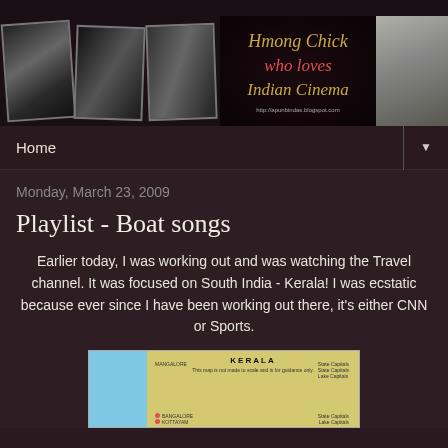[Figure (photo): Blog banner with black-and-white photos of a man, decorative text reading 'Hmong Chick who loves Indian Cinema', blog URL http://apunbindas.blogspot.com, and a photo of a man in white shirt]
Home
Monday, March 23, 2009
Playlist - Boat songs
Earlier today, I was working out and was watching the Travel channel. It was focused on South India - Kerala! I was ecstatic because ever since I have been working out there, it's either CNN or Sports.
[Figure (map): Map of Kerala, India. Text reads KERALA. Map shows coastline with Arabian Sea on west side. Labels include MANGALORE, BANGALORE. Note says 'This map is not made to scale and is for guidance only.']